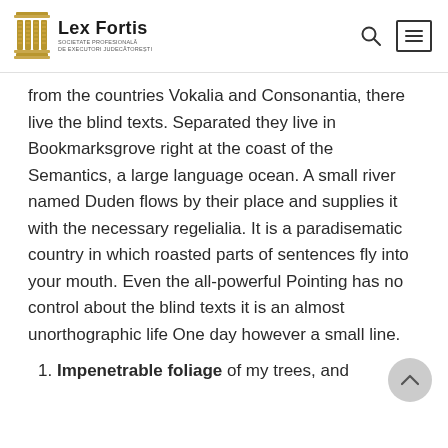Lex Fortis — SOCIETATE PROFESIONALĂ DE EXECUTORI JUDECĂTOREȘTI
from the countries Vokalia and Consonantia, there live the blind texts. Separated they live in Bookmarksgrove right at the coast of the Semantics, a large language ocean. A small river named Duden flows by their place and supplies it with the necessary regelialia. It is a paradisematic country in which roasted parts of sentences fly into your mouth. Even the all-powerful Pointing has no control about the blind texts it is an almost unorthographic life One day however a small line.
Impenetrable foliage of my trees, and